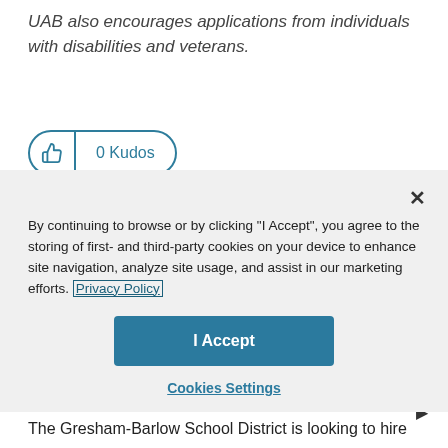UAB also encourages applications from individuals with disabilities and veterans.
[Figure (other): Thumbs up / kudos button showing 0 Kudos count with teal border]
By continuing to browse or by clicking "I Accept", you agree to the storing of first- and third-party cookies on your device to enhance site navigation, analyze site usage, and assist in our marketing efforts. Privacy Policy
I Accept
Cookies Settings
The Gresham-Barlow School District is looking to hire